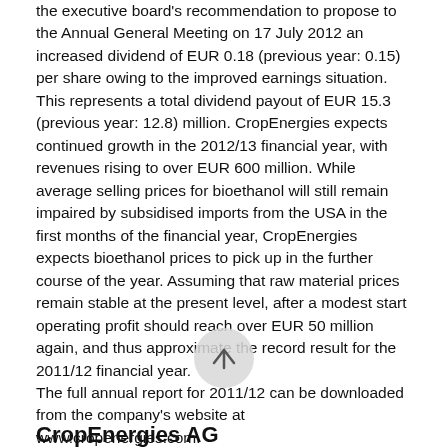the executive board's recommendation to propose to the Annual General Meeting on 17 July 2012 an increased dividend of EUR 0.18 (previous year: 0.15) per share owing to the improved earnings situation. This represents a total dividend payout of EUR 15.3 (previous year: 12.8) million. CropEnergies expects continued growth in the 2012/13 financial year, with revenues rising to over EUR 600 million. While average selling prices for bioethanol will still remain impaired by subsidised imports from the USA in the first months of the financial year, CropEnergies expects bioethanol prices to pick up in the further course of the year. Assuming that raw material prices remain stable at the present level, after a modest start operating profit should reach over EUR 50 million again, and thus approximate the record result for the 2011/12 financial year. The full annual report for 2011/12 can be downloaded from the company's website at www.cropenergies.com.
[Figure (other): Circular scroll-up button with an upward arrow icon]
CropEnergies AG